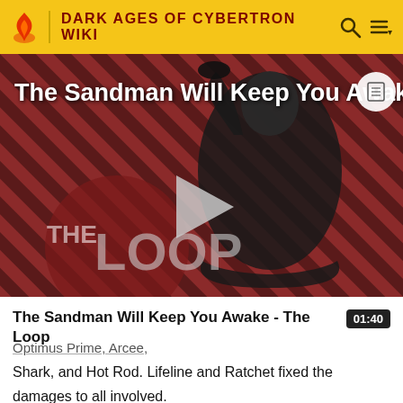DARK AGES OF CYBERTRON WIKI
[Figure (screenshot): Video thumbnail for 'The Sandman Will Keep You Awake - The Loop' showing a dark-cloaked figure against a red diagonal striped background with The Loop logo and a play button overlay]
The Sandman Will Keep You Awake - The Loop
01:40
Optimus Prime, Arcee,
Shark, and Hot Rod. Lifeline and Ratchet fixed the damages to all involved.